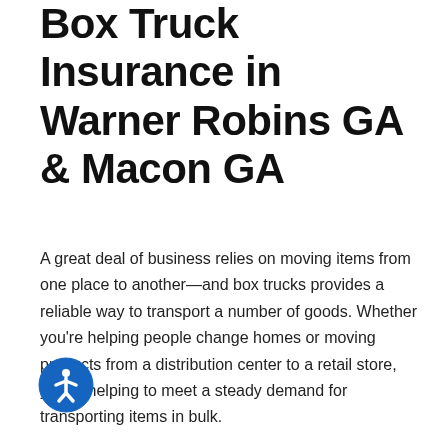Box Truck Insurance in Warner Robins GA & Macon GA
A great deal of business relies on moving items from one place to another—and box trucks provides a reliable way to transport a number of goods. Whether you're helping people change homes or moving products from a distribution center to a retail store, you're helping to meet a steady demand for transporting items in bulk.
However, the sheer variety of goods that can be transported also means there's no one box truck insurance policy that's suitable for every company. A